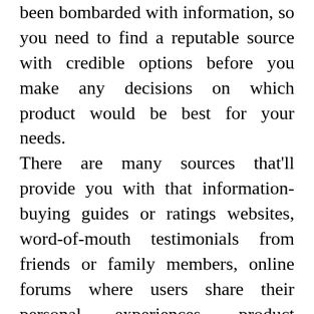been bombarded with information, so you need to find a reputable source with credible options before you make any decisions on which product would be best for your needs. There are many sources that'll provide you with that information- buying guides or ratings websites, word-of-mouth testimonials from friends or family members, online forums where users share their personal experiences, product reviews specifically found all over the internet and YouTube channels. Only thorough research will ensure that you get the right product. But that's not always easy, right? That's why we've taken time to compile a list of the best Webbing For Upholstery in today's market, on your behalf, so that there will be no more worries for you. How did we come up with the list, you ask? How